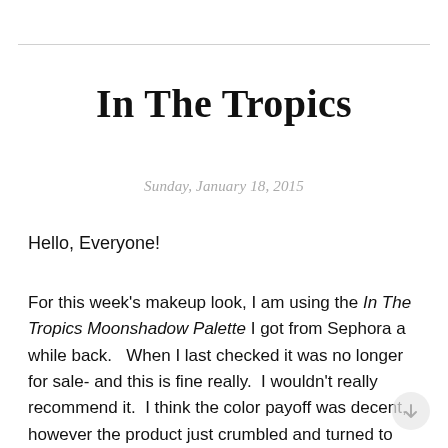In The Tropics
Sunday, January 18, 2015
Hello, Everyone!
For this week's makeup look, I am using the In The Tropics Moonshadow Palette I got from Sephora a while back.   When I last checked it was no longer for sale- and this is fine really.  I wouldn't really recommend it.  I think the color payoff was decent, however the product just crumbled and turned to powder a soon as I touched my brushes to it :(